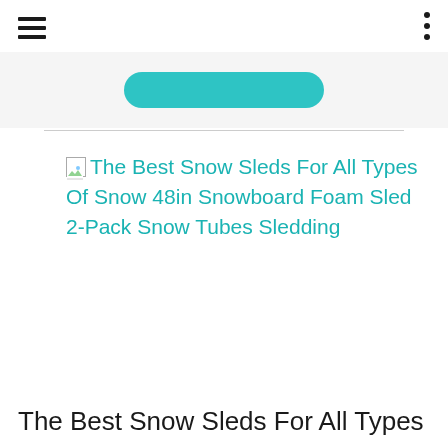[Figure (screenshot): Teal/cyan rounded button partially visible at top of page]
The Best Snow Sleds For All Types Of Snow 48in Snowboard Foam Sled 2-Pack Snow Tubes Sledding
The Best Snow Sleds For All Types